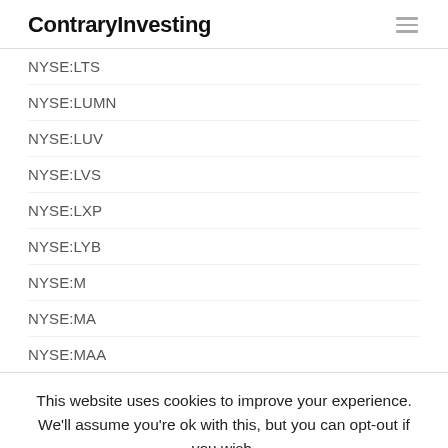ContraryInvesting
NYSE:LTS
NYSE:LUMN
NYSE:LUV
NYSE:LVS
NYSE:LXP
NYSE:LYB
NYSE:M
NYSE:MA
NYSE:MAA
This website uses cookies to improve your experience. We'll assume you're ok with this, but you can opt-out if you wish. Cookie settings ACCEPT